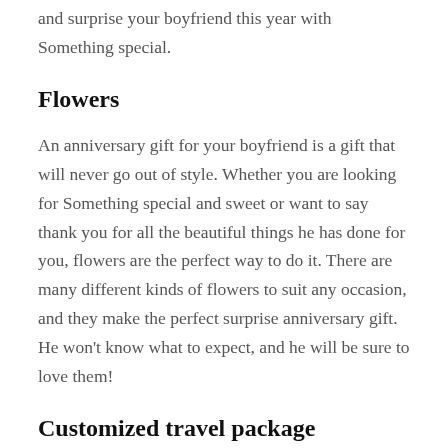and surprise your boyfriend this year with Something special.
Flowers
An anniversary gift for your boyfriend is a gift that will never go out of style. Whether you are looking for Something special and sweet or want to say thank you for all the beautiful things he has done for you, flowers are the perfect way to do it. There are many different kinds of flowers to suit any occasion, and they make the perfect surprise anniversary gift. He won't know what to expect, and he will be sure to love them!
Customized travel package